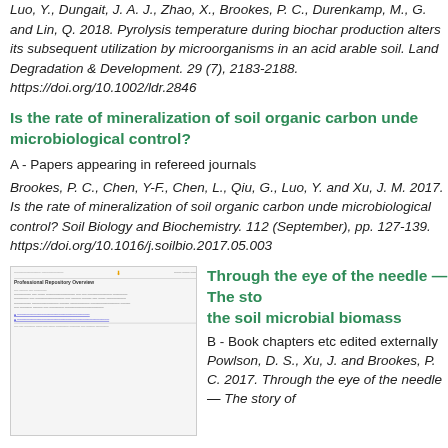Luo, Y., Dungait, J. A. J., Zhao, X., Brookes, P. C., Durenkamp, M., G. and Lin, Q. 2018. Pyrolysis temperature during biochar production alters its subsequent utilization by microorganisms in an acid arable soil. Land Degradation & Development. 29 (7), 2183-2188. https://doi.org/10.1002/ldr.2846
Is the rate of mineralization of soil organic carbon under microbiological control?
A - Papers appearing in refereed journals
Brookes, P. C., Chen, Y-F., Chen, L., Qiu, G., Luo, Y. and Xu, J. M. 2017. Is the rate of mineralization of soil organic carbon under microbiological control? Soil Biology and Biochemistry. 112 (September), pp. 127-139. https://doi.org/10.1016/j.soilbio.2017.05.003
[Figure (screenshot): Thumbnail screenshot of a document page showing a repository entry for 'Through the eye of the needle — The story of the soil microbial biomass']
Through the eye of the needle — The story of the soil microbial biomass
B - Book chapters etc edited externally
Powlson, D. S., Xu, J. and Brookes, P. C. 2017. Through the eye of the needle — The story of the soil microbial biomass. Tata K. P. (ed.)